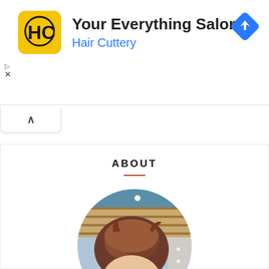[Figure (screenshot): Advertisement banner for Hair Cuttery salon app. Shows yellow HC logo icon, title 'Your Everything Salon', subtitle 'Hair Cuttery' in blue, and a blue diamond navigation icon in the top right corner. Small play and close (X) controls on the left side.]
[Figure (screenshot): Collapsed ad tab with upward-pointing chevron arrow (^) on white rounded tab.]
ABOUT
[Figure (photo): Circular cropped portrait photo of an Asian man with styled brown hair, photographed in a modern salon interior with wooden ceiling panels and recessed lighting in the background. Only the top portion of the face (eyes and hair) is visible.]